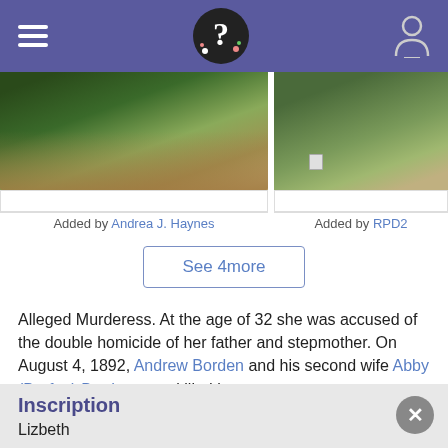Navigation bar with menu, logo, and user icon
[Figure (photo): Cemetery grave photo added by Andrea J. Haynes — green grass and fallen leaves over a grave]
Added by Andrea J. Haynes
[Figure (photo): Cemetery grave photo added by RPD2 — grass and stone marker visible]
Added by RPD2
See 4more
Alleged Murderess. At the age of 32 she was accused of the double homicide of her father and stepmother. On August 4, 1892, Andrew Borden and his second wife Abby (Durfee) Borden were killed in …
Read More
Bio by: R. Digati
Inscription
Lizbeth